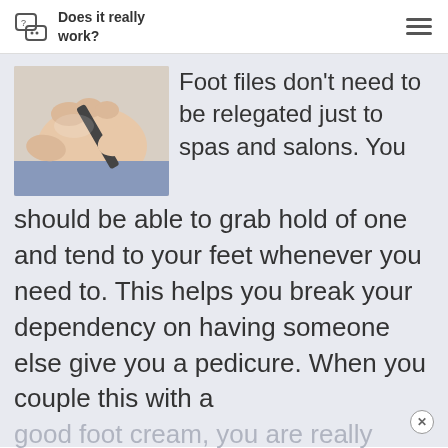Does it really work?
[Figure (photo): Hands filing the bottom of a foot with a nail file, person seated with jeans visible]
Foot files don't need to be relegated just to spas and salons. You should be able to grab hold of one and tend to your feet whenever you need to. This helps you break your dependency on having someone else give you a pedicure. When you couple this with a good foot cream, you are really taking a big step in pampering your feet.